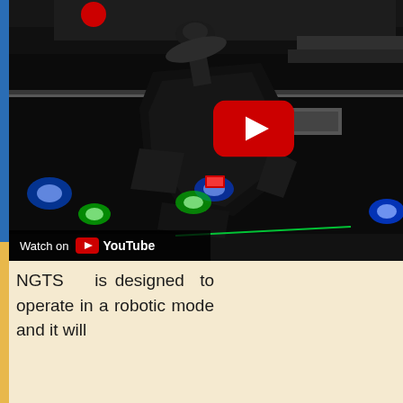[Figure (screenshot): YouTube video thumbnail showing robotic combat machines (NGTS robots) in a dark outdoor arena setting with blue and green LED lights. A large red YouTube play button is overlaid in the center-right. A 'Watch on YouTube' bar appears at the bottom left. A red circle/logo appears at the top.]
NGTS is designed to operate in a robotic mode and it will